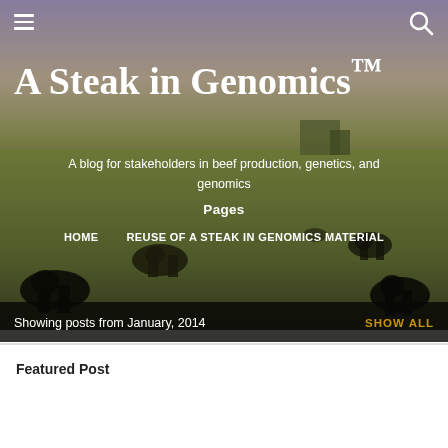[Figure (photo): Hero background photo of cattle grazing in a green field under a purple-blue sky, with farm buildings visible in the background.]
A Steak in Genomics™
A blog for stakeholders in beef production, genetics, and genomics
Pages
HOME
REUSE OF A STEAK IN GENOMICS MATERIAL
Showing posts from January, 2014
SHOW ALL
Featured Post